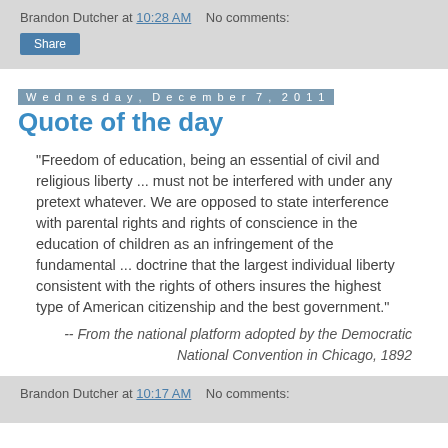Brandon Dutcher at 10:28 AM   No comments:
Share
Wednesday, December 7, 2011
Quote of the day
"Freedom of education, being an essential of civil and religious liberty ... must not be interfered with under any pretext whatever. We are opposed to state interference with parental rights and rights of conscience in the education of children as an infringement of the fundamental ... doctrine that the largest individual liberty consistent with the rights of others insures the highest type of American citizenship and the best government."
-- From the national platform adopted by the Democratic National Convention in Chicago, 1892
Brandon Dutcher at 10:17 AM   No comments: